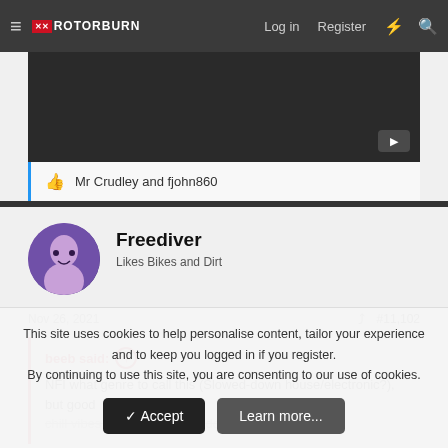ROTORBURN — Log in  Register
[Figure (screenshot): Dark video player area with play button in bottom right corner]
Mr Crudley and fjohn860
Freediver
Likes Bikes and Dirt
Nov 26, 2021  #11,102
beeb said: ↑
NFI what genre to call this (Slowed-down house/electronic?), but good chill vibes for a Friday wind-down:
This site uses cookies to help personalise content, tailor your experience and to keep you logged in if you register.
By continuing to use this site, you are consenting to our use of cookies.
✓ Accept    Learn more...